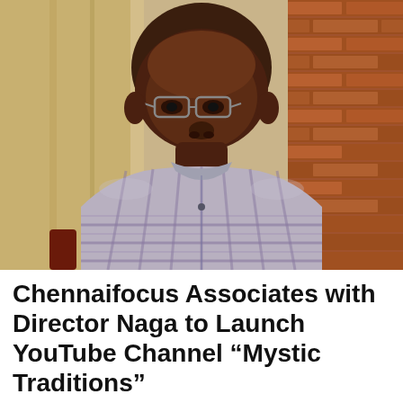[Figure (photo): A man with a bald head, wearing glasses and a grey/purple plaid short-sleeve shirt, seated in front of a wooden panel and red brick wall background. He has a moustache and goatee. The photo is cropped to show head and upper torso.]
Chennaifocus Associates with Director Naga to Launch YouTube Channel “Mystic Traditions”